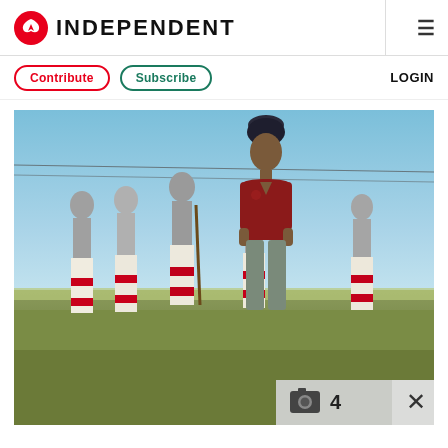INDEPENDENT
Contribute  Subscribe  LOGIN
[Figure (photo): A young man in a dark beanie and red t-shirt stands in front of five men painted grey wearing white and red traditional skirts, in an open grassy field under a clear blue sky with power lines visible.]